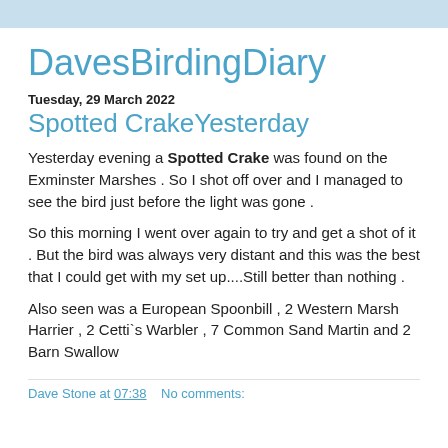DavesBirdingDiary
Tuesday, 29 March 2022
Spotted CrakeYesterday
Yesterday evening a Spotted Crake was found on the Exminster Marshes . So I shot off over and I managed to see the bird just before the light was gone .
So this morning I went over again to try and get a shot of it . But the bird was always very distant and this was the best that I could get with my set up....Still better than nothing .
Also seen was a European Spoonbill , 2 Western Marsh Harrier , 2 Cetti`s Warbler , 7 Common Sand Martin and 2 Barn Swallow
Dave Stone at 07:38    No comments: